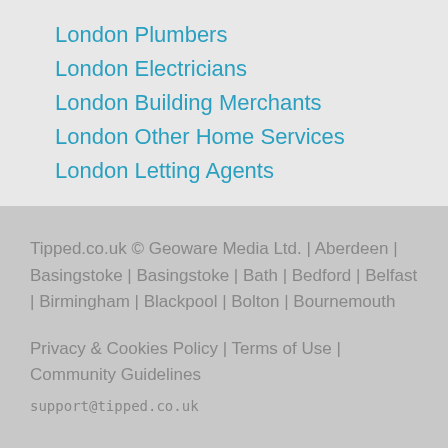London Plumbers
London Electricians
London Building Merchants
London Other Home Services
London Letting Agents
Tipped.co.uk © Geoware Media Ltd. | Aberdeen | Basingstoke | Basingstoke | Bath | Bedford | Belfast | Birmingham | Blackpool | Bolton | Bournemouth
Privacy & Cookies Policy | Terms of Use | Community Guidelines
support@tipped.co.uk